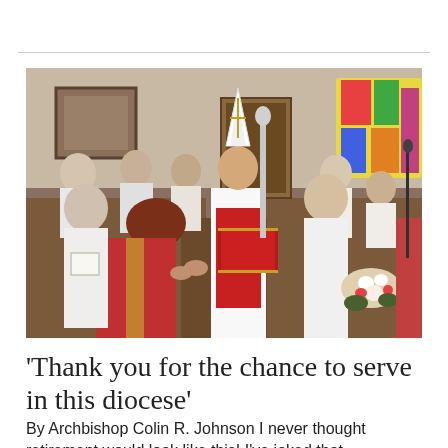[Figure (photo): Church ceremony scene: clergy in red and white vestments, a bishop wearing a white mitre holds a red liturgical book, surrounded by choir members and other clergy seated in wooden pews. A colorful abstract stained glass window is visible in the background on the right.]
‘Thank you for the chance to serve in this diocese’
By Archbishop Colin R. Johnson I never thought retirement would look like this!  I’ve joked that